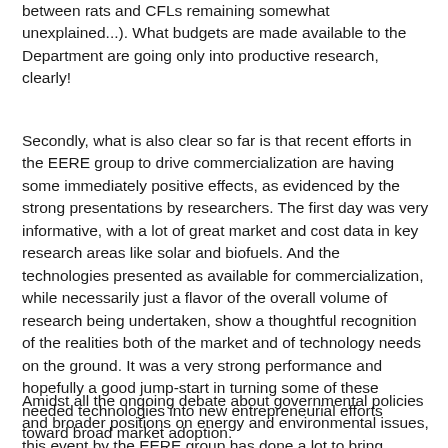between rats and CFLs remaining somewhat unexplained...). What budgets are made available to the Department are going only into productive research, clearly!
Secondly, what is also clear so far is that recent efforts in the EERE group to drive commercialization are having some immediately positive effects, as evidenced by the strong presentations by researchers. The first day was very informative, with a lot of great market and cost data in key research areas like solar and biofuels. And the technologies presented as available for commercialization, while necessarily just a flavor of the overall volume of research being undertaken, show a thoughtful recognition of the realities both of the market and of technology needs on the ground. It was a very strong performance and hopefully a good jump-start in turning some of these needed technologies into new entrepreneurial efforts toward broad market adoption.
Amidst all the ongoing debate about governmental policies and broader positions on energy and environmental issues, this event by the EERE group has done a lot to bring